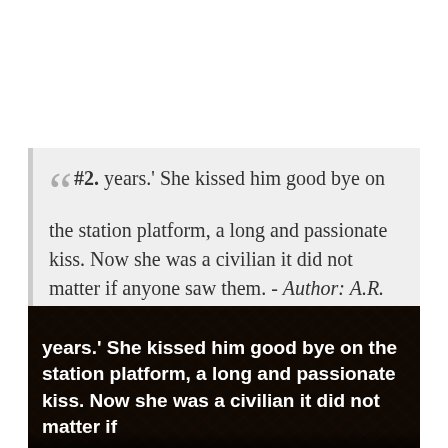“ #2. years.' She kissed him good bye on the station platform, a long and passionate kiss. Now she was a civilian it did not matter if anyone saw them. - Author: A.R. Davey ”
[Figure (photo): Dark background image with foliage/nature texture, overlaid with bold white text reading: years.' She kissed him good bye on the station platform, a long and passionate kiss. Now she was a civilian it did not matter if anyone saw them.]